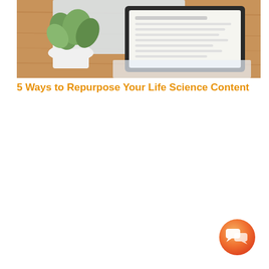[Figure (photo): Photo of a desk scene with a potted plant (green leaves in a white pot), a tablet or picture frame with a dark border showing a document/image, all resting on a wooden surface. Light and airy styling.]
5 Ways to Repurpose Your Life Science Content